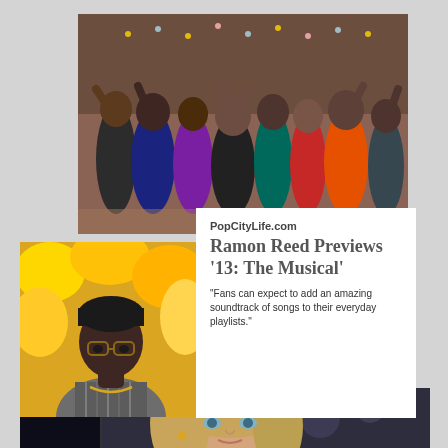[Figure (photo): Group of young performers celebrating on stage from the musical '13: The Musical', colorful scene with teens dancing and raising hands]
[Figure (photo): Portrait of Ramon Reed, a young Black male wearing glasses, a plaid jacket and gold chain, standing in front of autumn yellow foliage]
PopCityLife.com
Ramon Reed Previews '13: The Musical'
"Fans can expect to add an amazing soundtrack of songs to their everyday playlists."
[Figure (photo): Close-up portrait of a young blonde woman looking through glass, from '13: The Musical']